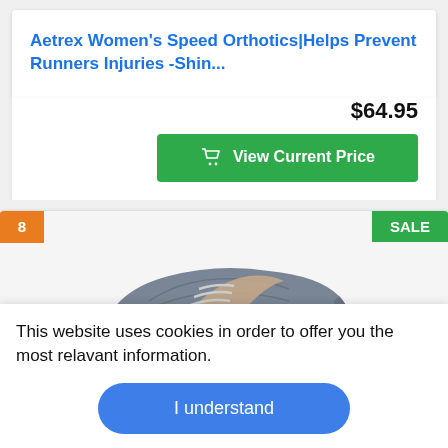Aetrex Women's Speed Orthotics|Helps Prevent Runners Injuries -Shin...
$64.95
View Current Price
[Figure (photo): Gray ASICS running shoe photographed at an angle, showing mesh upper and tan/beige accent stripe on the side.]
This website uses cookies in order to offer you the most relavant information.
I understand